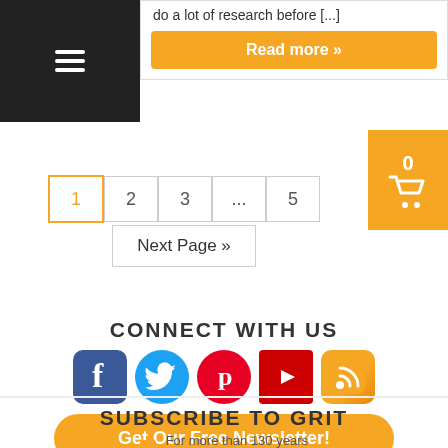do a lot of research before [...]
Read more »
0
1  2  3  ...  5
Next Page »
CONNECT WITH US
[Figure (illustration): Social media icons: Facebook, Twitter, Pinterest, YouTube, RSS]
Get Our Free Newsletter!
SUBSCRIBE TO GRIT
For more than 130 years